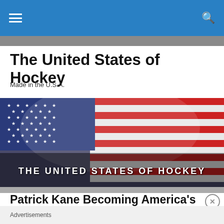Navigation bar with hamburger menu and search icon
The United States of Hockey
Made in the U.S.A.
[Figure (illustration): American flag banner image with text overlay reading THE UNITED STATES OF HOCKEY in bold white capital letters]
Patrick Kane Becoming America's Hockey Superstar
Advertisements